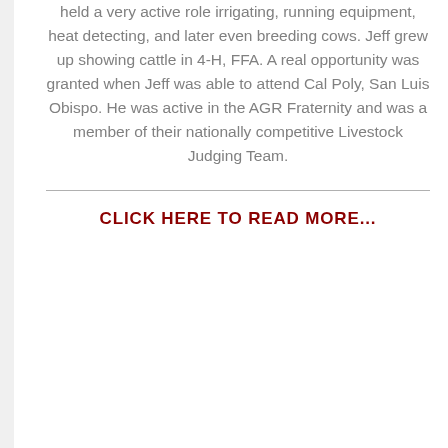held a very active role irrigating, running equipment, heat detecting, and later even breeding cows. Jeff grew up showing cattle in 4-H, FFA. A real opportunity was granted when Jeff was able to attend Cal Poly, San Luis Obispo. He was active in the AGR Fraternity and was a member of their nationally competitive Livestock Judging Team.
CLICK HERE TO READ MORE...